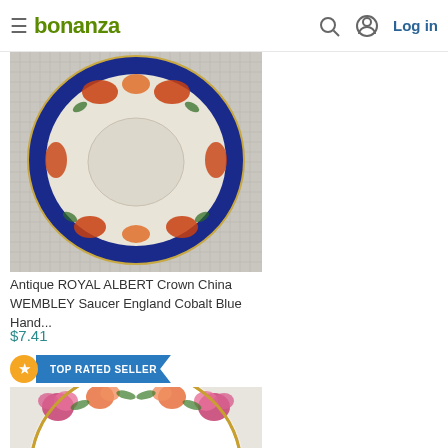bonanza — Log in
[Figure (photo): Antique Royal Albert Crown China Wembley saucer with cobalt blue border and orange/red floral pattern on a grid background]
Antique ROYAL ALBERT Crown China WEMBLEY Saucer England Cobalt Blue Hand...
$7.41
TOP RATED SELLER
[Figure (photo): Royal Albert Old Country Roses saucer with pink and orange rose floral pattern and gold trim border on a white background]